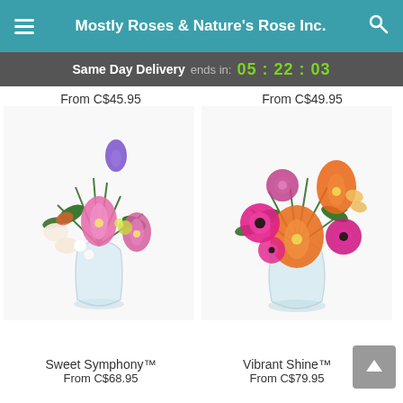Mostly Roses & Nature's Rose Inc.
Same Day Delivery ends in: 05 : 22 : 03
From C$45.95
From C$49.95
[Figure (photo): Bouquet of pink lilies, purple irises, alstroemeria, and white flowers in a round glass vase — Sweet Symphony]
[Figure (photo): Bouquet of orange lilies, pink roses, hot-pink gerbera daisies, and alstroemeria in a glass vase — Vibrant Shine]
Sweet Symphony™
From C$68.95
Vibrant Shine™
From C$79.95